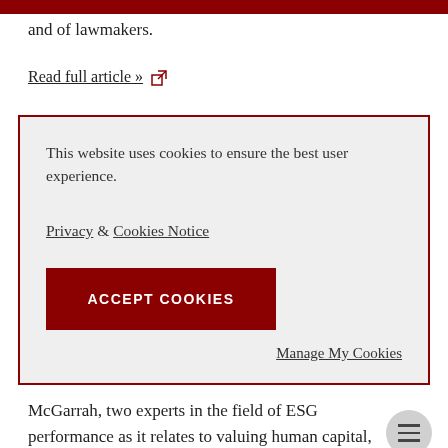and of lawmakers.
Read full article »
This website uses cookies to ensure the best user experience.
Privacy & Cookies Notice
ACCEPT COOKIES
Manage My Cookies
McGarrah, two experts in the field of ESG performance as it relates to valuing human capital, Mr. McGarrah says "Human capital is a critical component of successful ESG performance. Every